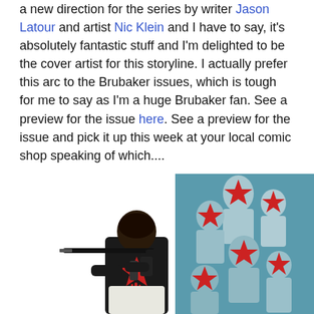a new direction for the series by writer Jason Latour and artist Nic Klein and I have to say, it's absolutely fantastic stuff and I'm delighted to be the cover artist for this storyline. I actually prefer this arc to the Brubaker issues, which is tough for me to say as I'm a huge Brubaker fan. See a preview for the issue here. See a preview for the issue and pick it up this week at your local comic shop speaking of which....
[Figure (illustration): Comic book cover art showing a dark-clad figure holding a rifle from behind, with a red star on their back, alongside a teal-colored panel showing several figures with red stars over their faces.]